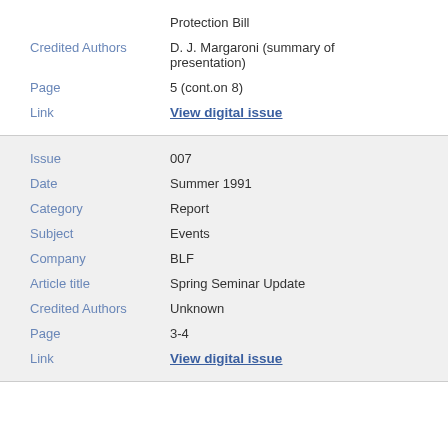Protection Bill
Credited Authors: D. J. Margaroni (summary of presentation)
Page: 5 (cont.on 8)
Link: View digital issue
Issue: 007
Date: Summer 1991
Category: Report
Subject: Events
Company: BLF
Article title: Spring Seminar Update
Credited Authors: Unknown
Page: 3-4
Link: View digital issue